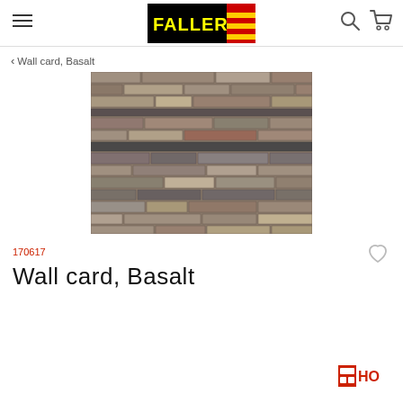Faller website header with hamburger menu, Faller logo, search and cart icons
< Wall card, Basalt
[Figure (photo): Close-up photo of a basalt stone wall texture showing layered rectangular stone blocks in shades of grey, brown and tan]
170617
Wall card, Basalt
[Figure (logo): HO scale badge logo in red with white symbol]